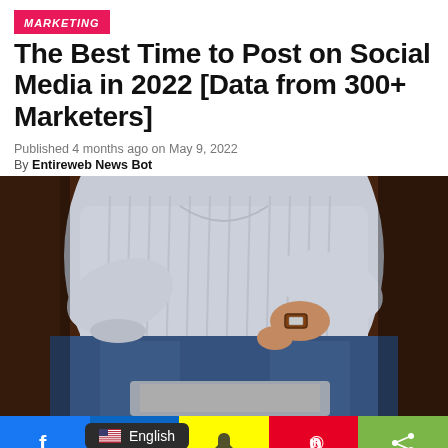MARKETING
The Best Time to Post on Social Media in 2022 [Data from 300+ Marketers]
Published 4 months ago on May 9, 2022
By Entireweb News Bot
[Figure (photo): Person in white striped blouse and jeans sitting on brown leather couch checking a wristwatch, with a laptop visible at the bottom]
Facebook, English, LinkedIn, Snapchat, Pinterest, Share social media bar